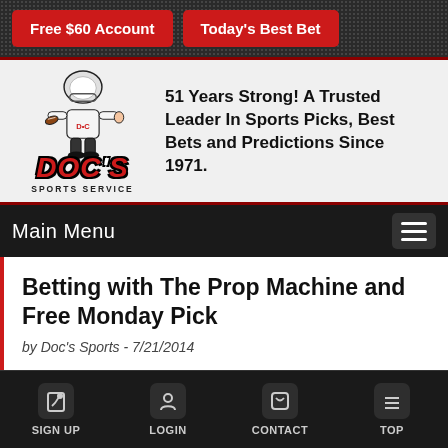[Figure (screenshot): Two red buttons: 'Free $60 Account' and 'Today's Best Bet' on dark textured background]
[Figure (logo): Doc's Sports Service logo with football mascot and tagline: 51 Years Strong! A Trusted Leader In Sports Picks, Best Bets and Predictions Since 1971.]
Main Menu
Betting with The Prop Machine and Free Monday Pick
by Doc's Sports - 7/21/2014
SIGN UP  LOGIN  CONTACT  TOP